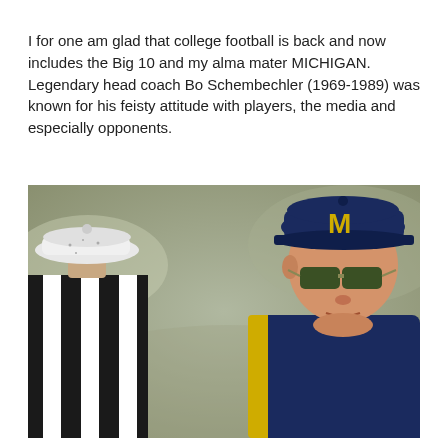I for one am glad that college football is back and now includes the Big 10 and my alma mater MICHIGAN. Legendary head coach Bo Schembechler (1969-1989) was known for his feisty attitude with players, the media and especially opponents.
[Figure (photo): Black and white/color photo of legendary Michigan football coach Bo Schembechler wearing a navy Michigan 'M' cap and sunglasses, facing a football referee in a black and white striped shirt. The coach is wearing a navy and gold Michigan jacket. The background is blurred.]